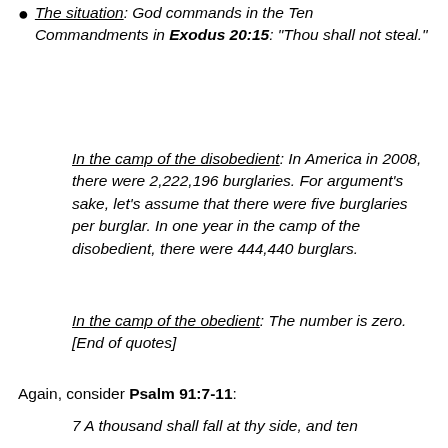The situation: God commands in the Ten Commandments in Exodus 20:15: "Thou shall not steal."
In the camp of the disobedient: In America in 2008, there were 2,222,196 burglaries. For argument's sake, let's assume that there were five burglaries per burglar. In one year in the camp of the disobedient, there were 444,440 burglars.
In the camp of the obedient: The number is zero. [End of quotes]
Again, consider Psalm 91:7-11:
7 A thousand shall fall at thy side, and ten